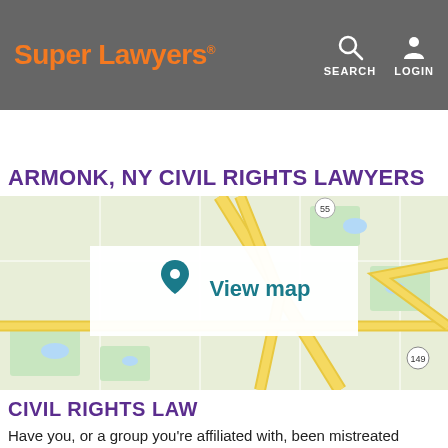Super Lawyers® SEARCH LOGIN
HOME   FIND A LAWYER   ASK SUPER L…
ARMONK, NY CIVIL RIGHTS LAWYERS
[Figure (map): Street map showing Armonk, NY area with yellow roads, green areas, a 'View map' overlay button with a location pin icon, and route markers including 55 and 149.]
CIVIL RIGHTS LAW
Have you, or a group you're affiliated with, been mistreated based on race, national origin, religion, gender or disability?